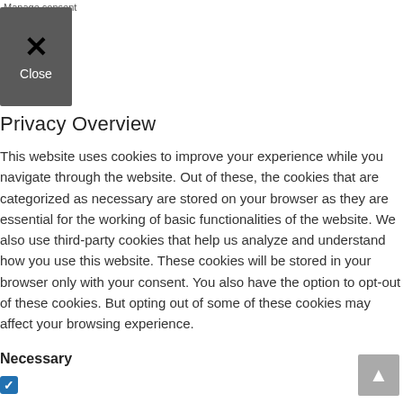Manage consent
[Figure (other): Close button with X icon and 'Close' label on dark gray background]
Privacy Overview
This website uses cookies to improve your experience while you navigate through the website. Out of these, the cookies that are categorized as necessary are stored on your browser as they are essential for the working of basic functionalities of the website. We also use third-party cookies that help us analyze and understand how you use this website. These cookies will be stored in your browser only with your consent. You also have the option to opt-out of these cookies. But opting out of some of these cookies may affect your browsing experience.
Necessary
[Figure (other): Blue checked checkbox indicating Necessary cookies are enabled]